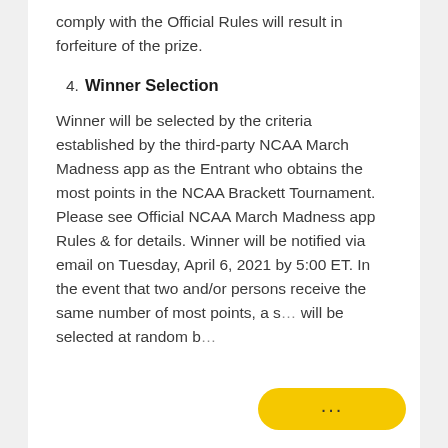comply with the Official Rules will result in forfeiture of the prize.
4. Winner Selection
Winner will be selected by the criteria established by the third-party NCAA March Madness app as the Entrant who obtains the most points in the NCAA Brackett Tournament. Please see Official NCAA March Madness app Rules & for details. Winner will be notified via email on Tuesday, April 6, 2021 by 5:00 ET. In the event that two and/or persons receive the same number of most points, a s… will be selected at random b…
[Figure (other): Yellow chat bubble button with three dots icon in the bottom-right corner of the page]